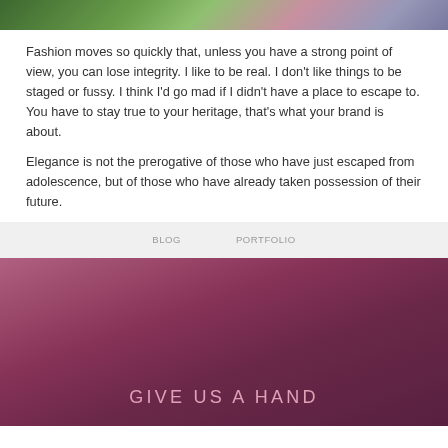[Figure (photo): Top portion of a photo showing foliage and a person, cropped at the top of the page]
Fashion moves so quickly that, unless you have a strong point of view, you can lose integrity. I like to be real. I don't like things to be staged or fussy. I think I'd go mad if I didn't have a place to escape to. You have to stay true to your heritage, that's what your brand is about.
Elegance is not the prerogative of those who have just escaped from adolescence, but of those who have already taken possession of their future.
GIVE US A HAND